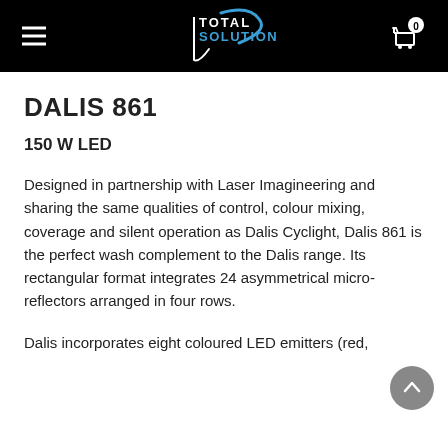TOTAL SOLUTION [logo]
DALIS 861
150 W LED
Designed in partnership with Laser Imagineering and sharing the same qualities of control, colour mixing, coverage and silent operation as Dalis Cyclight, Dalis 861 is the perfect wash complement to the Dalis range. Its rectangular format integrates 24 asymmetrical micro-reflectors arranged in four rows.
Dalis incorporates eight coloured LED emitters (red,